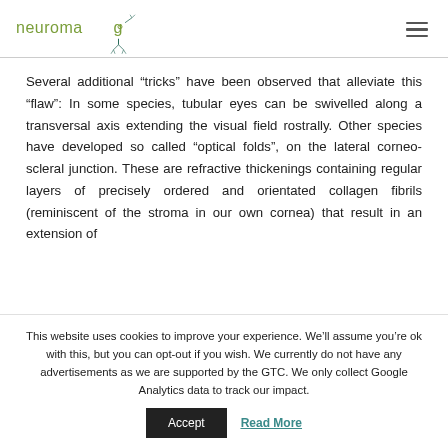neuromag
Several additional “tricks” have been observed that alleviate this “flaw”: In some species, tubular eyes can be swivelled along a transversal axis extending the visual field rostrally. Other species have developed so called “optical folds”, on the lateral corneo-scleral junction. These are refractive thickenings containing regular layers of precisely ordered and orientated collagen fibrils (reminiscent of the stroma in our own cornea) that result in an extension of
This website uses cookies to improve your experience. We’ll assume you’re ok with this, but you can opt-out if you wish. We currently do not have any advertisements as we are supported by the GTC. We only collect Google Analytics data to track our impact.